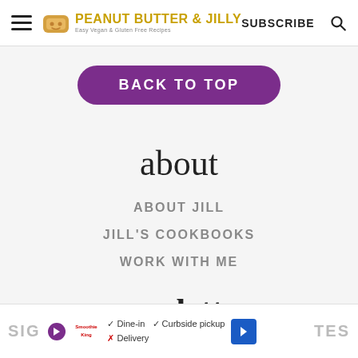PEANUT BUTTER & JILLY – Easy Vegan & Gluten Free Recipes | SUBSCRIBE
BACK TO TOP
about
ABOUT JILL
JILL'S COOKBOOKS
WORK WITH ME
newsletter
SIG... TES